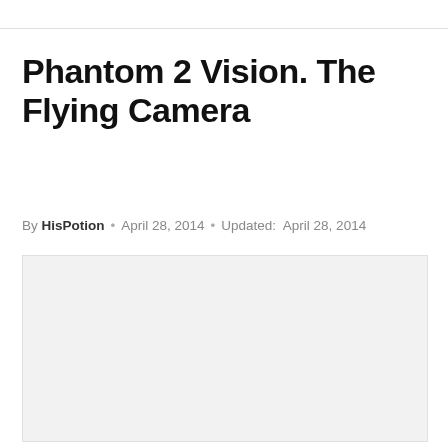Phantom 2 Vision. The Flying Camera
By HisPotion · April 28, 2014 · Updated: April 28, 2014
[Figure (photo): Large placeholder image area for article content, light gray background]